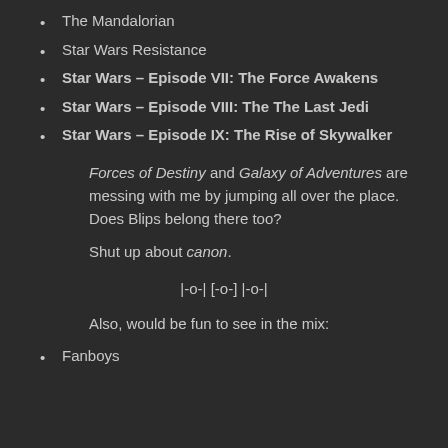The Mandalorian
Star Wars Resistance
Star Wars – Episode VII: The Force Awakens
Star Wars – Episode VIII: The The Last Jedi
Star Wars – Episode IX: The Rise of Skywalker
Forces of Destiny and Galaxy of Adventures are messing with me by jumping all over the place.  Does Blips belong there too?
Shut up about canon.
|-o-| [-o-] |-o-|
Also, would be fun to see in the mix:
Fanboys